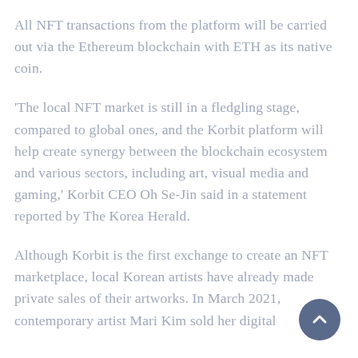All NFT transactions from the platform will be carried out via the Ethereum blockchain with ETH as its native coin.
'The local NFT market is still in a fledgling stage, compared to global ones, and the Korbit platform will help create synergy between the blockchain ecosystem and various sectors, including art, visual media and gaming,' Korbit CEO Oh Se-Jin said in a statement reported by The Korea Herald.
Although Korbit is the first exchange to create an NFT marketplace, local Korean artists have already made private sales of their artworks. In March 2021, contemporary artist Mari Kim sold her digital